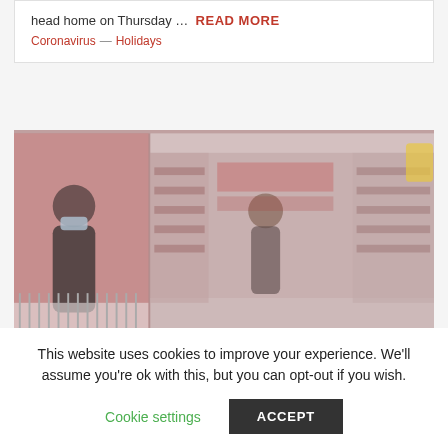head home on Thursday … READ MORE
Coronavirus — Holidays
[Figure (photo): A split retail store scene showing a masked shopper on the left side among clothing racks with a pink backdrop, and the right side showing store aisles with shelves of products and holiday merchandise.]
This website uses cookies to improve your experience. We'll assume you're ok with this, but you can opt-out if you wish.
Cookie settings   ACCEPT